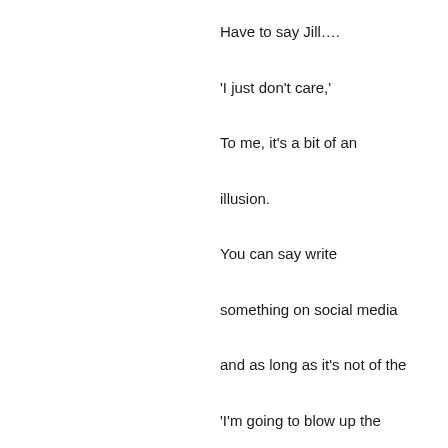Have to say Jill…. 'I just don't care,' To me, it's a bit of an illusion. You can say write something on social media and as long as it's not of the 'I'm going to blow up the Whitehouse', sort the authorities couldn't care less…BUT one of the unofficial social police forces will be all over you.